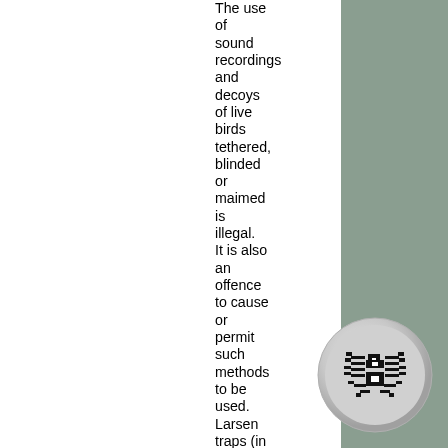The use of sound recordings and decoys of live birds tethered, blinded or maimed is illegal. It is also an offence to cause or permit such methods to be used. Larsen traps (in
[Figure (illustration): Pixel-art style spider icon inside a circular button with grey gradient border, displayed on a sage green background in the bottom-right area of the page.]